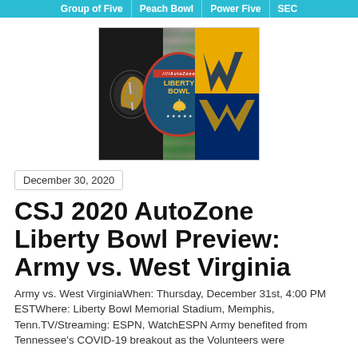Group of Five | Peach Bowl | Power Five | SEC
[Figure (photo): AutoZone Liberty Bowl logo with Army and West Virginia logos on either side, stadium crowd in background]
December 30, 2020
CSJ 2020 AutoZone Liberty Bowl Preview: Army vs. West Virginia
Army vs. West VirginiaWhen: Thursday, December 31st, 4:00 PM ESTWhere: Liberty Bowl Memorial Stadium, Memphis, Tenn.TV/Streaming: ESPN, WatchESPN Army benefited from Tennessee's COVID-19 breakout as the Volunteers were